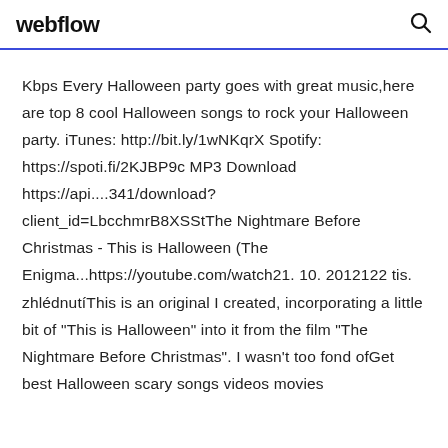webflow
Kbps Every Halloween party goes with great music,here are top 8 cool Halloween songs to rock your Halloween party. iTunes: http://bit.ly/1wNKqrX Spotify: https://spoti.fi/2KJBP9c MP3 Download https://api....341/download?client_id=LbcchmrB8XSStThe Nightmare Before Christmas - This is Halloween (The Enigma...https://youtube.com/watch21. 10. 2012122 tis. zhlédnutíThis is an original I created, incorporating a little bit of "This is Halloween" into it from the film "The Nightmare Before Christmas". I wasn't too fond ofGet best Halloween scary songs videos movies